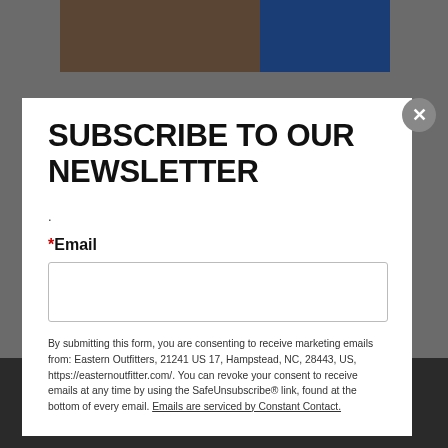[Figure (screenshot): Background showing a dimmed website page with navigation and imagery behind a modal popup dialog]
SUBSCRIBE TO OUR NEWSLETTER
.
*Email
By submitting this form, you are consenting to receive marketing emails from: Eastern Outfitters, 21241 US 17, Hampstead, NC, 28443, US, https://easternoutfitter.com/. You can revoke your consent to receive emails at any time by using the SafeUnsubscribe® link, found at the bottom of every email. Emails are serviced by Constant Contact.